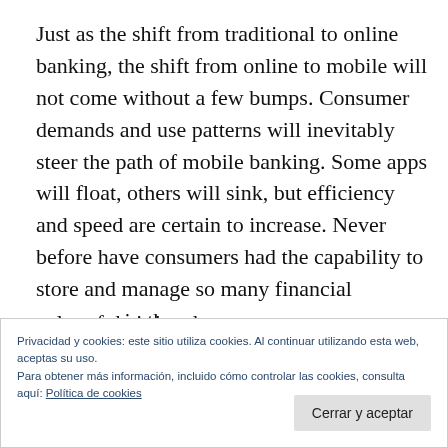Just as the shift from traditional to online banking, the shift from online to mobile will not come without a few bumps. Consumer demands and use patterns will inevitably steer the path of mobile banking. Some apps will float, others will sink, but efficiency and speed are certain to increase. Never before have consumers had the capability to store and manage so many financial resources in the palm of their hands
Privacidad y cookies: este sitio utiliza cookies. Al continuar utilizando esta web, aceptas su uso.
Para obtener más información, incluido cómo controlar las cookies, consulta aquí: Política de cookies